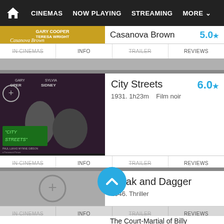CINEMAS | NOW PLAYING | STREAMING | MORE
[Figure (screenshot): Partial Casanova Brown movie poster with Gary Cooper, Teresa Wright]
Casanova Brown   5.0
IN CINEMAS   INFO   TRAILER   REVIEWS
[Figure (photo): City Streets movie poster with Gary Cooper and Sylvia Sidney]
City Streets   6.0
1931. 1h23m   Film noir
IN CINEMAS   INFO   TRAILER   REVIEWS
[Figure (illustration): Cloak and Dagger placeholder circle with plus sign]
Cloak and Dagger
1946. Thriller
IN CINEMAS   INFO   TRAILER   REVIEWS
The Court-Martial of Billy Mitchell   7.0
1955. 1h40m   War drama